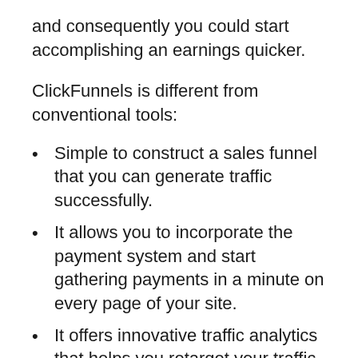and consequently you could start accomplishing an earnings quicker.
ClickFunnels is different from conventional tools:
Simple to construct a sales funnel that you can generate traffic successfully.
It allows you to incorporate the payment system and start gathering payments in a minute on every page of your site.
It offers innovative traffic analytics that helps you retarget your traffic to improve sales.
It offers a choice to send out follow-ups to your prospects to warm them prior to they purchase your product.